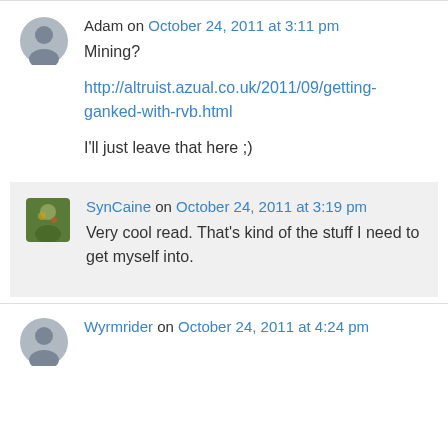Adam on October 24, 2011 at 3:11 pm
Mining?

http://altruist.azual.co.uk/2011/09/getting-ganked-with-rvb.html

I'll just leave that here ;)
SynCaine on October 24, 2011 at 3:19 pm
Very cool read. That's kind of the stuff I need to get myself into.
Wyrmrider on October 24, 2011 at 4:24 pm